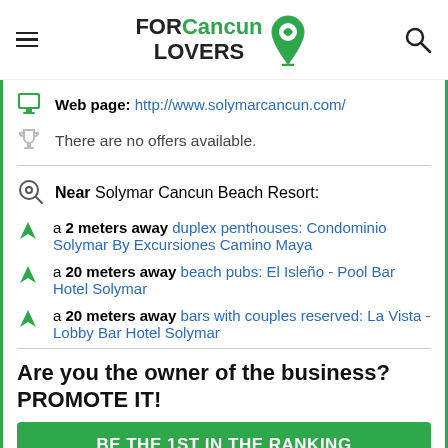FOR Cancun LOVERS
Web page: http://www.solymarcancun.com/
There are no offers available.
Near Solymar Cancun Beach Resort:
a 2 meters away duplex penthouses: Condominio Solymar By Excursiones Camino Maya
a 20 meters away beach pubs: El Isleño - Pool Bar Hotel Solymar
a 20 meters away bars with couples reserved: La Vista - Lobby Bar Hotel Solymar
Are you the owner of the business? PROMOTE IT!
BE THE 1ST IN THE RANKING